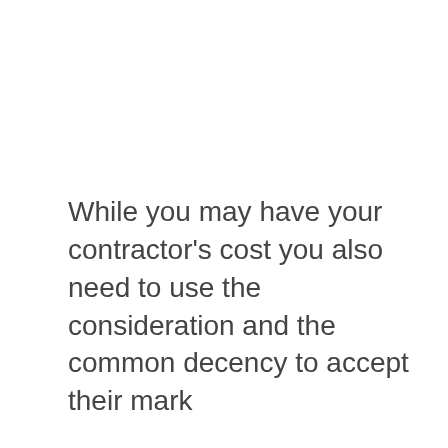While you may have your contractor’s cost you also need to use the consideration and the common decency to accept their mark